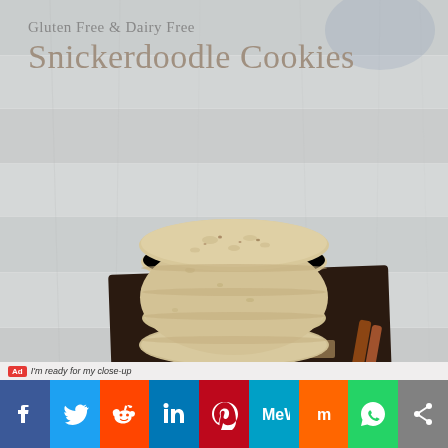[Figure (photo): Stack of gluten-free and dairy-free snickerdoodle cookies on a dark wooden board with cinnamon sticks, placed on a white wood surface background. Text overlay reads 'Gluten Free & Dairy Free Snickerdoodle Cookies'.]
Gluten Free & Dairy Free Snickerdoodle Cookies
[Figure (infographic): Social media sharing bar with buttons for Facebook, Twitter, Reddit, LinkedIn, Pinterest, MeWe, Mix, WhatsApp, and a share icon.]